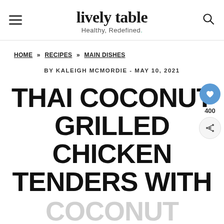lively table — Healthy, Redefined.
HOME » RECIPES » MAIN DISHES
BY KALEIGH MCMORDIE - MAY 10, 2021
THAI COCONUT GRILLED CHICKEN TENDERS WITH COCONUT